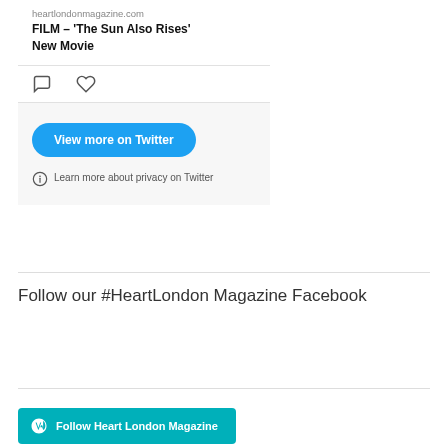heartlondonmagazine.com
FILM – 'The Sun Also Rises' New Movie
[Figure (screenshot): Twitter/X embedded tweet card showing a link to heartlondonmagazine.com with title 'FILM – The Sun Also Rises New Movie', with comment and like icons, a 'View more on Twitter' blue button, and a 'Learn more about privacy on Twitter' note]
Follow our #HeartLondon Magazine Facebook
Follow Heart London Magazine